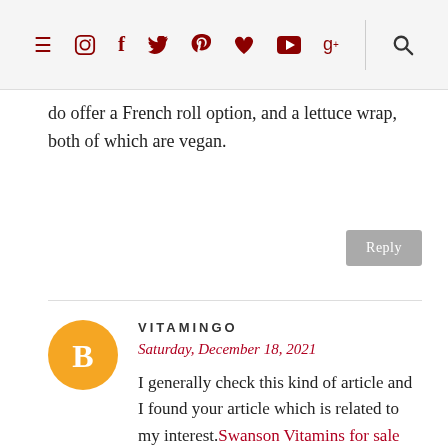Navigation bar with social media icons: hamburger menu, Instagram, Facebook, Twitter, Pinterest, Heart, YouTube, Google+, Search
do offer a French roll option, and a lettuce wrap, both of which are vegan.
Reply
VITAMINGO
Saturday, December 18, 2021
I generally check this kind of article and I found your article which is related to my interest. Swanson Vitamins for sale online in UK Genuinely it is good and instructive information. Thankful